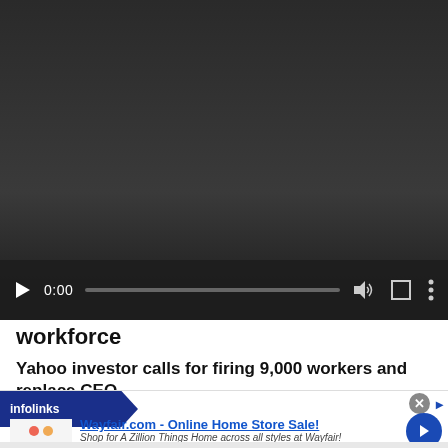[Figure (screenshot): Video player with dark background showing controls: play button, time 0:00, scrubber bar, volume icon, fullscreen icon, and options icon]
workforce
Yahoo investor calls for firing 9,000 workers and replace CEO
JOIN THE CONVERSATION
[Figure (screenshot): Advertisement banner with infolinks badge, close button, Wayfair.com ad: 'Wayfair.com - Online Home Store Sale! Shop for A Zillion Things Home across all styles at Wayfair! www.wayfair.com' with arrow button]